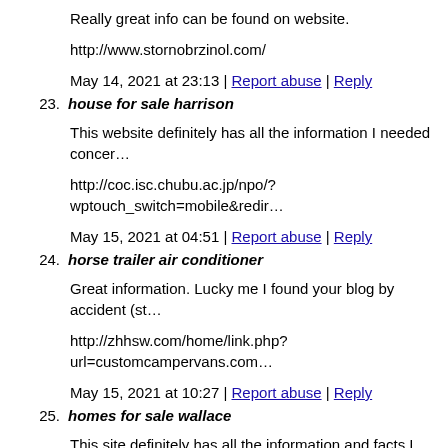Really great info can be found on website.
http://www.stornobrzinol.com/
May 14, 2021 at 23:13 | Report abuse | Reply
23. house for sale harrison
This website definitely has all the information I needed concer…
http://coc.isc.chubu.ac.jp/npo/?wptouch_switch=mobile&redir…
May 15, 2021 at 04:51 | Report abuse | Reply
24. horse trailer air conditioner
Great information. Lucky me I found your blog by accident (st…
http://zhhsw.com/home/link.php?url=customcampervans.com…
May 15, 2021 at 10:27 | Report abuse | Reply
25. homes for sale wallace
This site definitely has all the information and facts I needed a…
http://www.sweetcotton.com/osanpo/search/rank.cgi?mode=lin…
May 15, 2021 at 12:21 | Report abuse | Reply